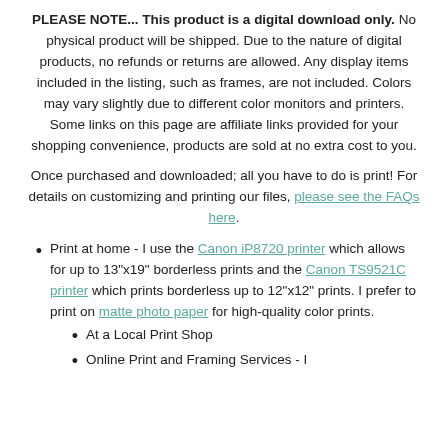PLEASE NOTE... This product is a digital download only. No physical product will be shipped. Due to the nature of digital products, no refunds or returns are allowed. Any display items included in the listing, such as frames, are not included. Colors may vary slightly due to different color monitors and printers. Some links on this page are affiliate links provided for your shopping convenience, products are sold at no extra cost to you.
Once purchased and downloaded; all you have to do is print! For details on customizing and printing our files, please see the FAQs here.
Print at home - I use the Canon iP8720 printer which allows for up to 13"x19" borderless prints and the Canon TS9521C printer which prints borderless up to 12"x12" prints. I prefer to print on matte photo paper for high-quality color prints.
At a Local Print Shop
Online Print and Framing Services - I